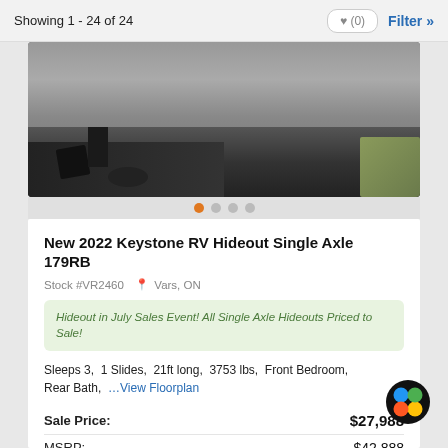Showing 1 - 24 of 24
[Figure (photo): Photo of RV hitch/mechanical parts on pavement with grass border visible, partially cropped at top. Carousel dots visible below.]
New 2022 Keystone RV Hideout Single Axle 179RB
Stock #VR2460  Vars, ON
Hideout in July Sales Event! All Single Axle Hideouts Priced to Sale!
Sleeps 3,  1 Slides,  21ft long,  3753 lbs,  Front Bedroom,  Rear Bath,  …View Floorplan
| Label | Price |
| --- | --- |
| Sale Price: | $27,988 |
| MSRP: | $42,888 |
| Save: | $14,900 |